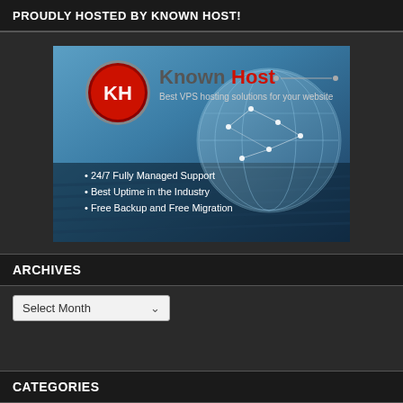PROUDLY HOSTED BY KNOWN HOST!
[Figure (advertisement): KnownHost advertisement banner showing globe on keyboard background with logo and bullet points: 24/7 Fully Managed Support, Best Uptime in the Industry, Free Backup and Free Migration. Text reads 'KnownHost Best VPS hosting solutions for your website']
ARCHIVES
Select Month
CATEGORIES